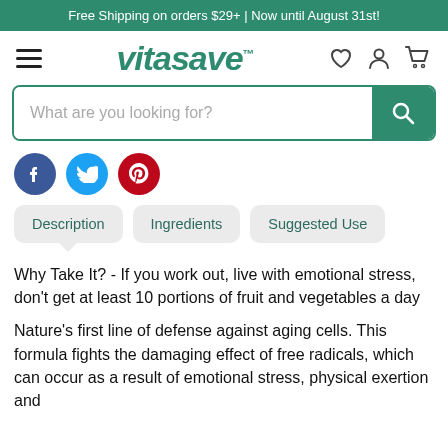Free Shipping on orders $29+ | Now until August 31st!
[Figure (logo): Vitasave logo with hamburger menu and nav icons (heart, user, cart)]
[Figure (screenshot): Search bar with placeholder text 'What are you looking for?' and green search button]
[Figure (infographic): Social sharing icons: Facebook (blue circle), Twitter (light blue circle), Pinterest (red circle)]
Description   Ingredients   Suggested Use
Why Take It? - If you work out, live with emotional stress, don't get at least 10 portions of fruit and vegetables a day
Nature's first line of defense against aging cells. This formula fights the damaging effect of free radicals, which can occur as a result of emotional stress, physical exertion and